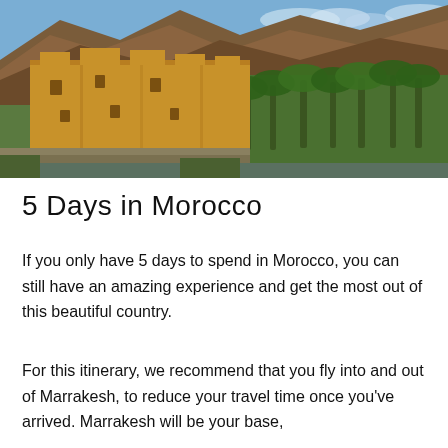[Figure (photo): A Moroccan kasbah or fortress with sandy adobe walls in the foreground, lush green palm trees in the middle ground, and dramatic rocky mountains under a blue sky in the background.]
5 Days in Morocco
If you only have 5 days to spend in Morocco, you can still have an amazing experience and get the most out of this beautiful country.
For this itinerary, we recommend that you fly into and out of Marrakesh, to reduce your travel time once you've arrived. Marrakesh will be your base,